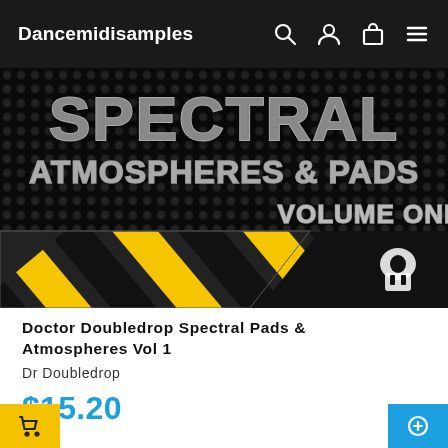Dancemidisamples
[Figure (photo): Product cover art for Doctor Doubledrop Spectral Pads & Atmospheres Vol 1. Dark metallic texture background with text 'SPECTRAL ATMOSPHERES & PADS VOLUME ONE' in large industrial lettering. Bottom third features yellow and black diagonal hazard stripes. Small logo in lower right.]
Doctor Doubledrop Spectral Pads & Atmospheres Vol 1
Dr Doubledrop
$15.20